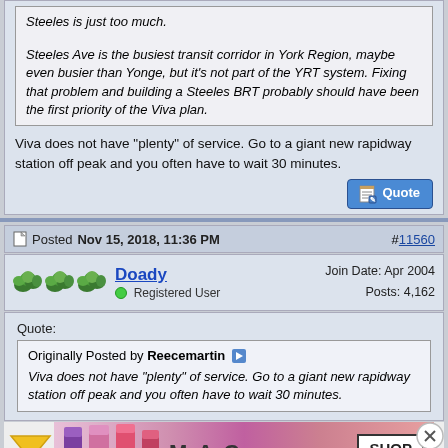Steeles is just too much.
Steeles Ave is the busiest transit corridor in York Region, maybe even busier than Yonge, but it's not part of the YRT system. Fixing that problem and building a Steeles BRT probably should have been the first priority of the Viva plan.
Viva does not have "plenty" of service. Go to a giant new rapidway station off peak and you often have to wait 30 minutes.
Posted Nov 15, 2018, 11:36 PM
#11560
Doady
Registered User
Join Date: Apr 2004
Posts: 4,162
Quote:
Originally Posted by Reecemartin
Viva does not have "plenty" of service. Go to a giant new rapidway station off peak and you often have to wait 30 minutes.
[Figure (infographic): MAC cosmetics advertisement showing lipsticks and 'SHOP NOW' text]
Viva Purp... 5 minute... from...